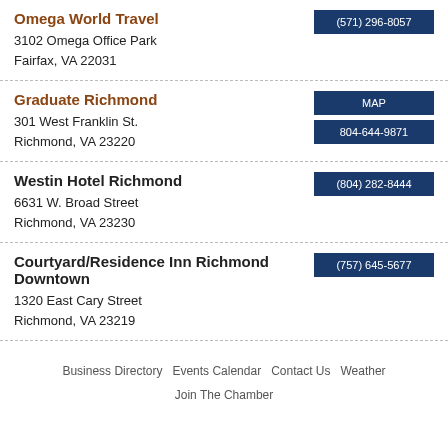Omega World Travel
3102 Omega Office Park
Fairfax, VA 22031
(571) 296-8057
Graduate Richmond
301 West Franklin St.
Richmond, VA 23220
MAP
804-644-9871
Westin Hotel Richmond
6631 W. Broad Street
Richmond, VA 23230
(804) 282-8444
Courtyard/Residence Inn Richmond Downtown
1320 East Cary Street
Richmond, VA 23219
(757) 645-5677
Business Directory   Events Calendar   Contact Us   Weather
Join The Chamber